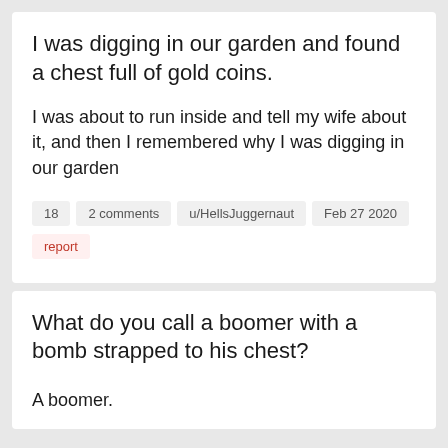I was digging in our garden and found a chest full of gold coins.
I was about to run inside and tell my wife about it, and then I remembered why I was digging in our garden
18   2 comments   u/HellsJuggernaut   Feb 27 2020
report
What do you call a boomer with a bomb strapped to his chest?
A boomer.